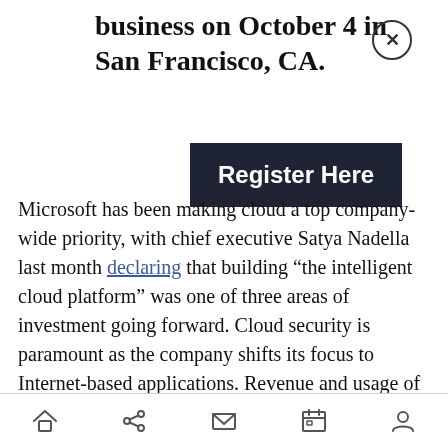business on October 4 in San Francisco, CA.
[Figure (other): Dark button with white bold text reading 'Register Here']
Microsoft has been making cloud a top company-wide priority, with chief executive Satya Nadella last month declaring that building “the intelligent cloud platform” was one of three areas of investment going forward. Cloud security is paramount as the company shifts its focus to Internet-based applications. Revenue and usage of Office 365 for consumers were both on the rise in the first quarter of 2015, and surely Microsoft
Home | Share | Mail | Calendar | Profile